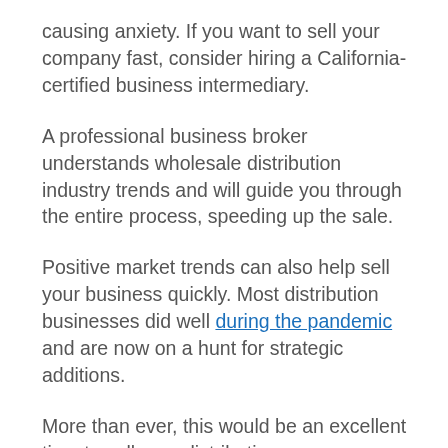causing anxiety. If you want to sell your company fast, consider hiring a California-certified business intermediary.
A professional business broker understands wholesale distribution industry trends and will guide you through the entire process, speeding up the sale.
Positive market trends can also help sell your business quickly. Most distribution businesses did well during the pandemic and are now on a hunt for strategic additions.
More than ever, this would be an excellent time to sell your distribution company.
With a qualified intermediary by your side, you are guaranteed to clinch a good deal for your California